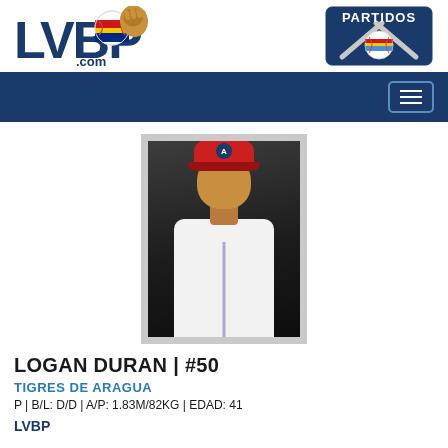[Figure (logo): LVBP.com logo with Venezuelan flag baseball and glove]
[Figure (logo): PARTIDOS logo with crossed bats and baseball]
[Figure (photo): Player photo of Logan Duran wearing red cap with A logo and white jersey]
LOGAN DURAN | #50
TIGRES DE ARAGUA
P | B/L: D/D | A/P: 1.83M/82KG | EDAD: 41
LVBP